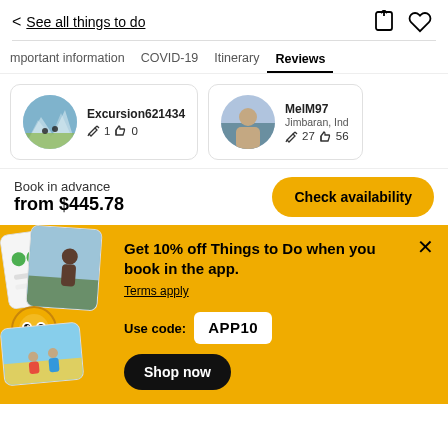< See all things to do
Important information  COVID-19  Itinerary  Reviews
[Figure (screenshot): Review card for user Excursion621434 with avatar showing mountain biking scene, 1 review, 0 likes]
[Figure (screenshot): Review card for user MelM97 from Jimbaran, Ind with 27 reviews and 56 likes]
Book in advance
from $445.78
Check availability
[Figure (infographic): App promo banner: Get 10% off Things to Do when you book in the app. Terms apply. Use code: APP10. Shop now button.]
Get 10% off Things to Do when you book in the app.
Terms apply
Use code:  APP10
Shop now